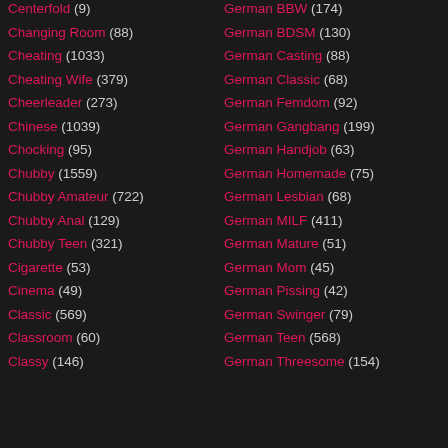Centerfold (9)
Changing Room (88)
Cheating (1033)
Cheating Wife (379)
Cheerleader (273)
Chinese (1039)
Chocking (95)
Chubby (1559)
Chubby Amateur (722)
Chubby Anal (129)
Chubby Teen (321)
Cigarette (53)
Cinema (49)
Classic (569)
Classroom (60)
Classy (146)
German BBW (174)
German BDSM (130)
German Casting (88)
German Classic (68)
German Femdom (92)
German Gangbang (199)
German Handjob (63)
German Homemade (75)
German Lesbian (68)
German MILF (411)
German Mature (51)
German Mom (45)
German Pissing (42)
German Swinger (79)
German Teen (568)
German Threesome (154)